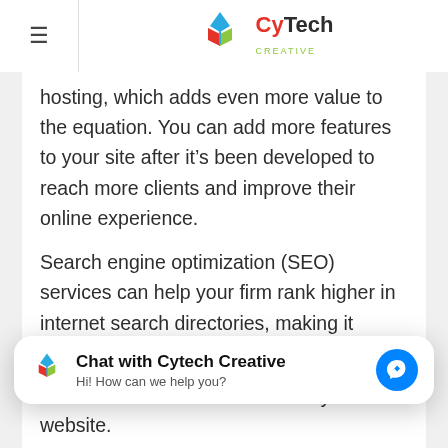CyTech Creative
hosting, which adds even more value to the equation. You can add more features to your site after it's been developed to reach more clients and improve their online experience.
Search engine optimization (SEO) services can help your firm rank higher in internet search directories, making it easier for clients to find you online. Create an eCommerce alternative for your consumers to make online purchases while you gain more revenue – an important issue to consider as more people shop online
[Figure (other): Chat with Cytech Creative messenger widget with logo, title, subtitle, and messenger button]
customers more reasons to visit your website.